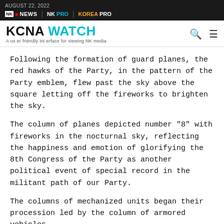AUGUST 22, 2022 | NK NEWS | NK PRO | KOREA PRO
KCNA WATCH — A user friendly interface for viewing NK media
Following the formation of guard planes, the red hawks of the Party, in the pattern of the Party emblem, flew past the sky above the square letting off the fireworks to brighten the sky.
The column of planes depicted number "8" with fireworks in the nocturnal sky, reflecting the happiness and emotion of glorifying the 8th Congress of the Party as another political event of special record in the militant path of our Party.
The columns of mechanized units began their procession led by the column of armored vehicles.
The column of prototype tanks roared past the square, which was followed by those of ultra-modern tactical rockets.
This was followed by the procession of the ultra-modern self-